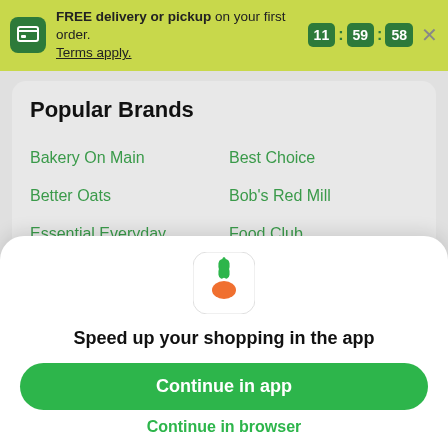FREE delivery or pickup on your first order. Terms apply.
11 : 59 : 58
Popular Brands
Bakery On Main
Best Choice
Better Oats
Bob's Red Mill
Essential Everyday
Food Club
Full Circle
Glutenfreeda
[Figure (logo): Instacart carrot app icon — green leaves and orange carrot body on white rounded square]
Speed up your shopping in the app
Continue in app
Continue in browser